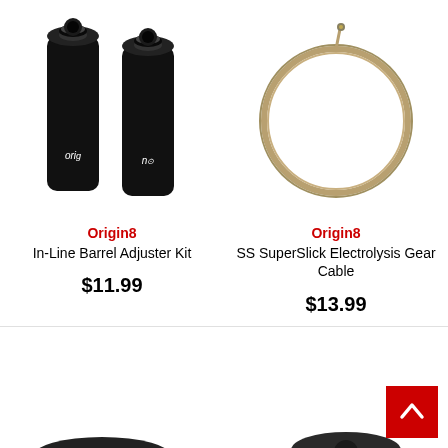[Figure (photo): Two black cylindrical barrel adjusters with 'origin8' branding text on them]
Origin8
In-Line Barrel Adjuster Kit
$11.99
[Figure (photo): A gold/tan colored bicycle gear cable coiled in a circle with a small end cap visible at top]
Origin8
SS SuperSlick Electrolysis Gear Cable
$13.99
[Figure (photo): Partial view of a black bicycle component at bottom left, cropped]
[Figure (photo): Partial view of a black bicycle component at bottom right, cropped]